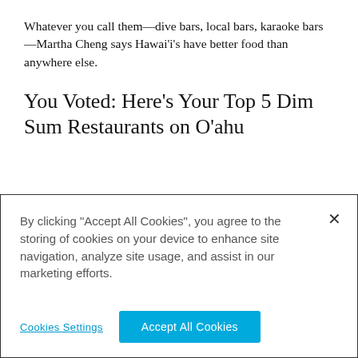Whatever you call them—dive bars, local bars, karaoke bars—Martha Cheng says Hawai'i's have better food than anywhere else.
You Voted: Here's Your Top 5 Dim Sum Restaurants on O'ahu
[Figure (photo): Overhead photo of dim sum dishes in bamboo steamers and bowls, showing shumai and other dim sum items]
By clicking "Accept All Cookies", you agree to the storing of cookies on your device to enhance site navigation, analyze site usage, and assist in our marketing efforts.
Cookies Settings   Accept All Cookies